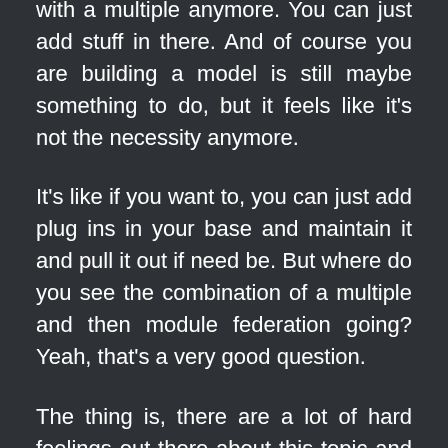with a multiple anymore. You can just add stuff in there. And of course you are building a model is still maybe something to do, but it feels like it's not the necessity anymore.
It's like if you want to, you can just add plug ins in your base and maintain it and pull it out if need be. But where do you see the combination of a multiple and then module federation going? Yeah, that's a very good question.
The thing is, there are a lot of hard feelings out there about this topic and a lot of emotions out there. People are fighting over this topic. Are we allowed to use micro frampton's with emotional people?